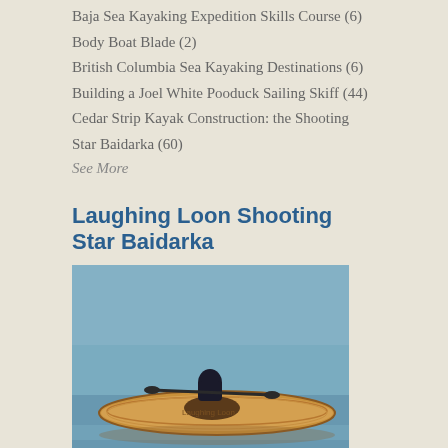Baja Sea Kayaking Expedition Skills Course (6)
Body Boat Blade (2)
British Columbia Sea Kayaking Destinations (6)
Building a Joel White Pooduck Sailing Skiff (44)
Cedar Strip Kayak Construction: the Shooting Star Baidarka (60)
See More
Laughing Loon Shooting Star Baidarka
[Figure (photo): Person paddling a cedar strip kayak on calm water, wooden kayak with warm brown tones]
Cedar Strip Stand-Up Paddleboard
[Figure (photo): Person standing on a paddleboard on calm lake water, distant shoreline visible]